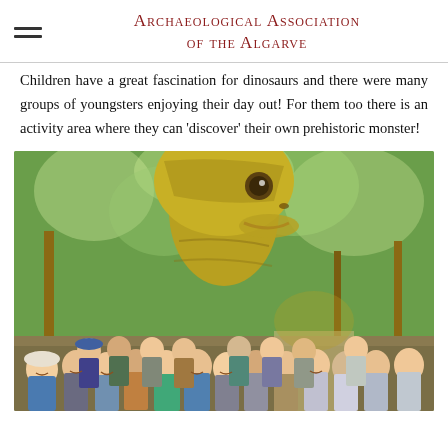Archaeological Association of the Algarve
Children have a great fascination for dinosaurs and there were many groups of youngsters enjoying their day out! For them too there is an activity area where they can 'discover' their own prehistoric monster!
[Figure (photo): Group photo of approximately 20 adults standing and smiling in front of a large realistic dinosaur model (sauropod head), surrounded by trees in a park setting.]